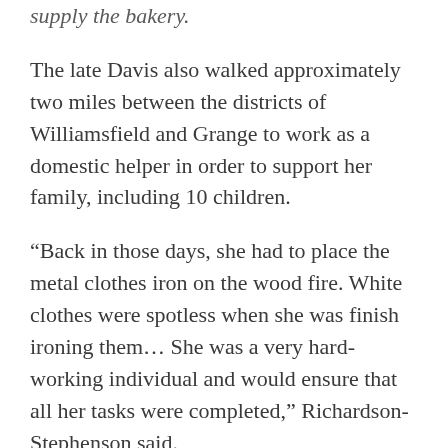supply the bakery.
The late Davis also walked approximately two miles between the districts of Williamsfield and Grange to work as a domestic helper in order to support her family, including 10 children.
“Back in those days, she had to place the metal clothes iron on the wood fire. White clothes were spotless when she was finish ironing them… She was a very hard-working individual and would ensure that all her tasks were completed,” Richardson-Stephenson said.
She told The Beacon that her mother, who was a single parent, worshiped at Hebron Baptist Church in Williamsfield.